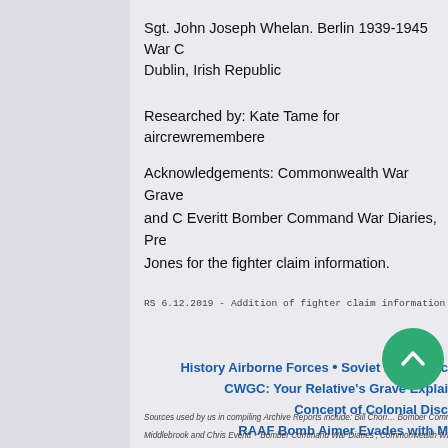Sgt. John Joseph Whelan. Berlin 1939-1945 War C Dublin, Irish Republic
Researched by: Kate Tame for aircrewremembere
Acknowledgements: Commonwealth War Grave and C Everitt Bomber Command War Diaries, Pre Jones for the fighter claim information.
RS 6.12.2019 - Addition of fighter claim information
History Airborne Forces • Soviet Night Witc
CWGC: Your Relative's Grave Explai
Concept of Colonial Disc
RAAF Bomb Aimer Evades with M
Sources used by us in compiling Archive Reports include: Bill Chori Middlebrook and Chris Everitt - 'Bomber Command War Diaries', Commonwealth War